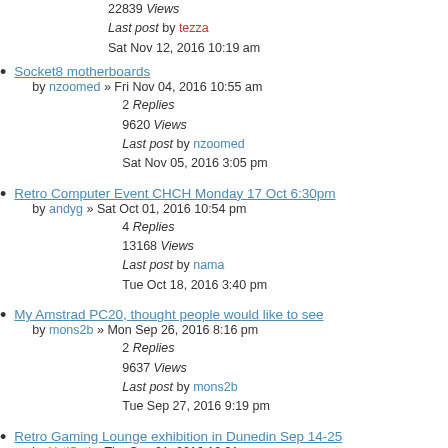22839 Views
Last post by tezza
Sat Nov 12, 2016 10:19 am
Socket8 motherboards
by nzoomed » Fri Nov 04, 2016 10:55 am
2 Replies
9620 Views
Last post by nzoomed
Sat Nov 05, 2016 3:05 pm
Retro Computer Event CHCH Monday 17 Oct 6:30pm
by andyg » Sat Oct 01, 2016 10:54 pm
4 Replies
13168 Views
Last post by nama
Tue Oct 18, 2016 3:40 pm
My Amstrad PC20, thought people would like to see
by mons2b » Mon Sep 26, 2016 8:16 pm
2 Replies
9637 Views
Last post by mons2b
Tue Sep 27, 2016 9:19 pm
Retro Gaming Lounge exhibition in Dunedin Sep 14-25
by YetiSeti » Thu Sep 01, 2016 12:21 am
0 Replies
7262 Views
Last post by YetiSeti